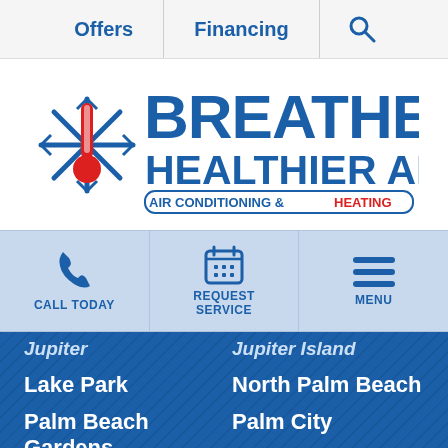Offers | Financing | Search
[Figure (logo): Breathe Healthier Air – Air Conditioning & Heating logo with snowflake and thermometer icon]
CALL TODAY | REQUEST SERVICE | MENU
Jupiter
Jupiter Island
Lake Park
North Palm Beach
Palm Beach Gardens
Palm City